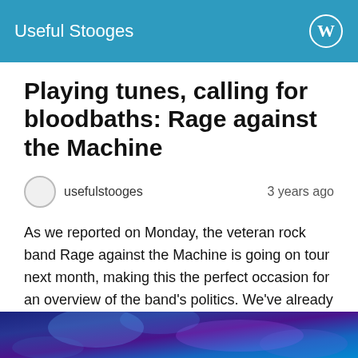Useful Stooges
Playing tunes, calling for bloodbaths: Rage against the Machine
usefulstooges    3 years ago
As we reported on Monday, the veteran rock band Rage against the Machine is going on tour next month, making this the perfect occasion for an overview of the band’s politics. We’ve already taken a look at Rage’s afición for the Zapatista Army of National Liberation, which exercises administrative authority over much of the Mexican state of Chiapas.
[Figure (photo): Concert/performance photo with blue and purple stage lighting, partially visible at bottom of page]